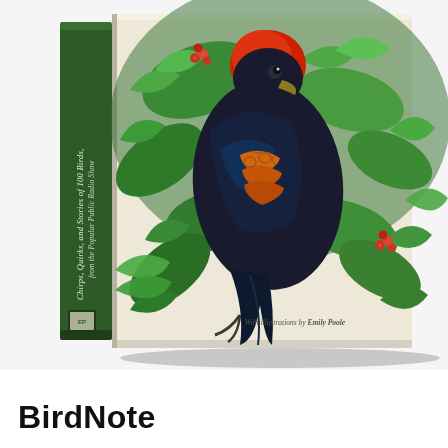[Figure (photo): A hardcover book shown at an angle, with a dark green spine reading 'Chirps, Quirks, and Stories of 100 Birds from the Popular Public Radio Show' in italic white text. The book cover features a detailed illustration of a dark bird (possibly a starling or parrot) perched among lush green botanical foliage with red berries. The cover has a cream/beige background. At the bottom of the cover it reads 'With illustrations by Emily Poole'. The publisher logo is visible on the spine.]
BirdNote